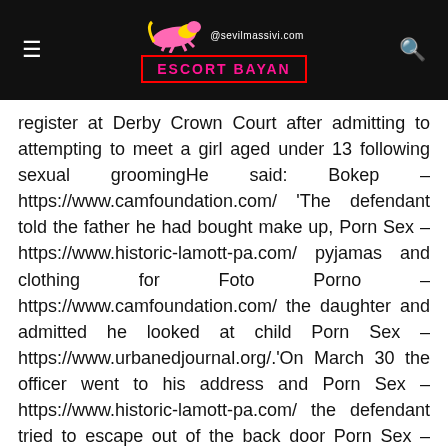[Figure (logo): Escort Bayan website header with logo (running animal in pink/yellow), @sevilmassivi.com text, ESCORT BAYAN banner in red border, hamburger menu icon on left, search icon on right, all on black background]
register at Derby Crown Court after admitting to attempting to meet a girl aged under 13 following sexual groomingHe said: Bokep – https://www.camfoundation.com/ 'The defendant told the father he had bought make up, Porn Sex – https://www.historic-lamott-pa.com/ pyjamas and clothing for Foto Porno – https://www.camfoundation.com/ the daughter and admitted he looked at child Porn Sex – https://www.urbanedjournal.org/.'On March 30 the officer went to his address and Porn Sex – https://www.historic-lamott-pa.com/ the defendant tried to escape out of the back door Porn Sex – https://www.urbanedjournal.org/ but was caught.'A search of the property discovered the items he had bought as gifts for Bokep – https://www.worldwewant2030.org/ the girl.'O'Neil, of Ironville, Inde Bokep…